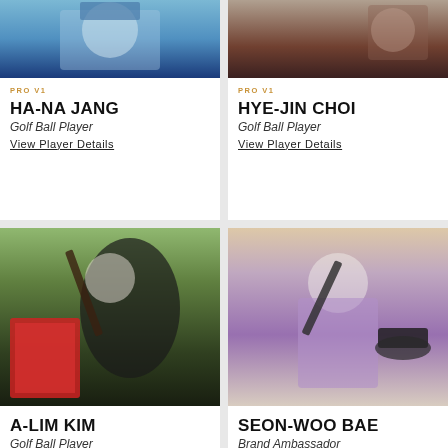[Figure (photo): Ha-Na Jang golf player photo – partial upper body shot with blue background]
PRO V1
HA-NA JANG
Golf Ball Player
View Player Details
[Figure (photo): Hye-Jin Choi golf player photo – partial torso shot with dark background]
PRO V1
HYE-JIN CHOI
Golf Ball Player
View Player Details
[Figure (photo): A-Lim Kim golf player photo – full swing action shot with red sign in background]
A-LIM KIM
Golf Ball Player
View Player Details
[Figure (photo): Seon-Woo Bae golf player photo – full swing action shot in purple top]
SEON-WOO BAE
Brand Ambassador
View Player Details